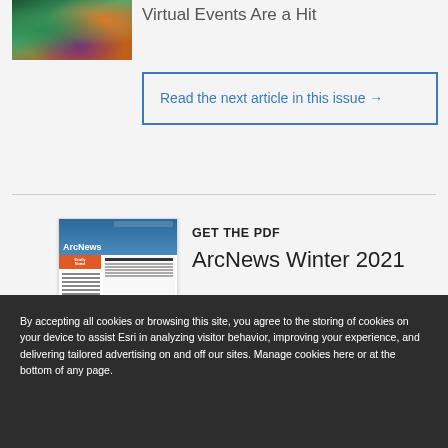[Figure (photo): Colorful image with green, orange, and purple tones showing a nature or event scene]
Virtual Events Are a Hit
Read the next article in this issue →
[Figure (photo): Thumbnail of ArcNews Winter 2021 PDF cover showing magazine layout]
GET THE PDF
ArcNews Winter 2021
By accepting all cookies or browsing this site, you agree to the storing of cookies on your device to assist Esri in analyzing visitor behavior, improving your experience, and delivering tailored advertising on and off our sites. Manage cookies here or at the bottom of any page.